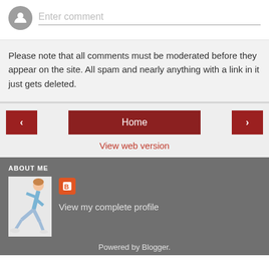Enter comment
Please note that all comments must be moderated before they appear on the site. All spam and nearly anything with a link in it just gets deleted.
Home
View web version
ABOUT ME
[Figure (illustration): Running person illustration]
View my complete profile
Powered by Blogger.